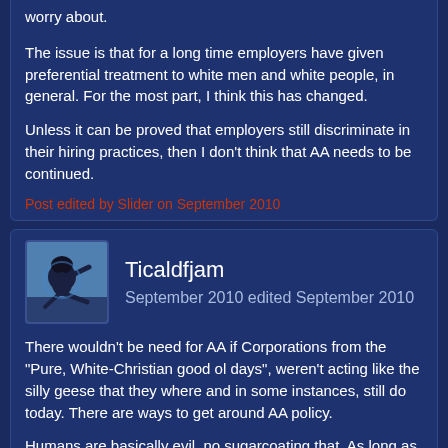worry about.
The issue is that for a long time employers have given preferential treatment to white men and white people, in general. For the most part, I think this has changed.
Unless it can be proved that employers still discriminate in their hiring practices, then I don't think that AA needs to be continued.
Post edited by Slider on September 2010
Ticaldfjam
September 2010 edited September 2010
There wouldn't be need for AA if Corporations from the "Pure, White-Christian good ol days", weren't acting like the silly geese that they where and in some instances, still do today. There are ways to get around AA policy.
Humans are basically evil, no sugarcoating that. As long as humanity exist, evil will. So its basically wishful thinking that "If...